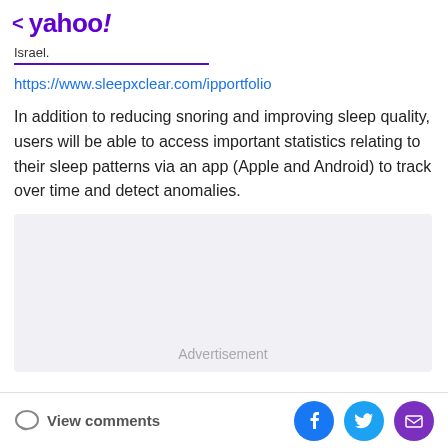< yahoo!
Israel.
https://www.sleepxclear.com/ipportfolio
In addition to reducing snoring and improving sleep quality, users will be able to access important statistics relating to their sleep patterns via an app (Apple and Android) to track over time and detect anomalies.
[Figure (other): Advertisement placeholder box]
View comments